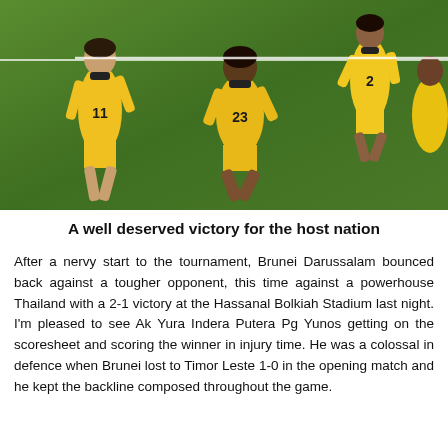[Figure (photo): Football players in yellow jerseys with numbers 11, 23, and 2 on a green pitch]
A well deserved victory for the host nation
After a nervy start to the tournament, Brunei Darussalam bounced back against a tougher opponent, this time against a powerhouse Thailand with a 2-1 victory at the Hassanal Bolkiah Stadium last night. I'm pleased to see Ak Yura Indera Putera Pg Yunos getting on the scoresheet and scoring the winner in injury time. He was a colossal in defence when Brunei lost to Timor Leste 1-0 in the opening match and he kept the backline composed throughout the game.
Even with a scoreline deadlock by half time, the host nation kept pressuring the visitors and looked more of a different force – alive and hungry.
Naziruddin Hj Ismail scored the opening goal with an assist from captain Faiq Jefri Bolkiah after 60 minutes which brought